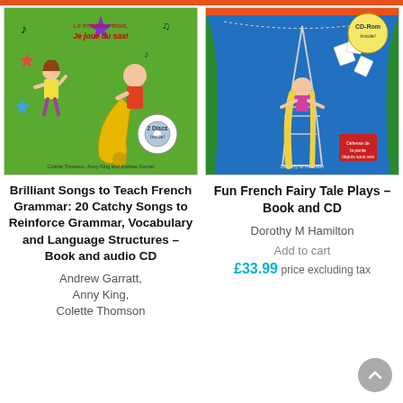[Figure (illustration): Book cover: Brilliant Songs to Teach French Grammar – colorful illustration of children with a saxophone, green background]
Brilliant Songs to Teach French Grammar: 20 Catchy Songs to Reinforce Grammar, Vocabulary and Language Structures – Book and audio CD
Andrew Garratt, Anny King, Colette Thomson
[Figure (illustration): Book cover: Fun French Fairy Tale Plays – Book and CD – illustration of a girl near Eiffel Tower, blue background, CD-Rom Inside badge]
Fun French Fairy Tale Plays – Book and CD
Dorothy M Hamilton
Add to cart
£33.99 price excluding tax